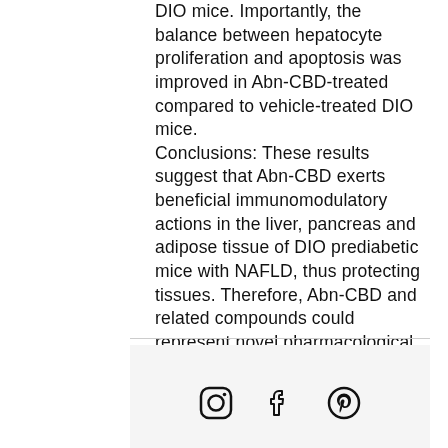DIO mice. Importantly, the balance between hepatocyte proliferation and apoptosis was improved in Abn-CBD-treated compared to vehicle-treated DIO mice. Conclusions: These results suggest that Abn-CBD exerts beneficial immunomodulatory actions in the liver, pancreas and adipose tissue of DIO prediabetic mice with NAFLD, thus protecting tissues. Therefore, Abn-CBD and related compounds could represent novel pharmacological strategies for managing obesity-related metabolic disorders.
[Figure (logo): Social media icons: Instagram, Facebook, Pinterest; followed by a circular neurological journal logo at the bottom]